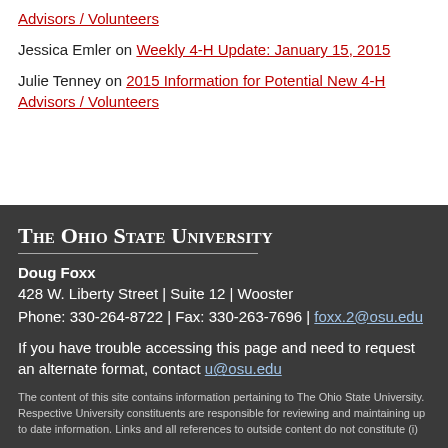Advisors / Volunteers
Jessica Emler on Weekly 4-H Update: January 15, 2015
Julie Tenney on 2015 Information for Potential New 4-H Advisors / Volunteers
The Ohio State University
Doug Foxx
428 W. Liberty Street | Suite 12 | Wooster
Phone: 330-264-8722 | Fax: 330-263-7696 | foxx.2@osu.edu
If you have trouble accessing this page and need to request an alternate format, contact u@osu.edu
The content of this site contains information pertaining to The Ohio State University. Respective University constituents are responsible for reviewing and maintaining up to date information. Links and all references to outside content do not constitute (i)